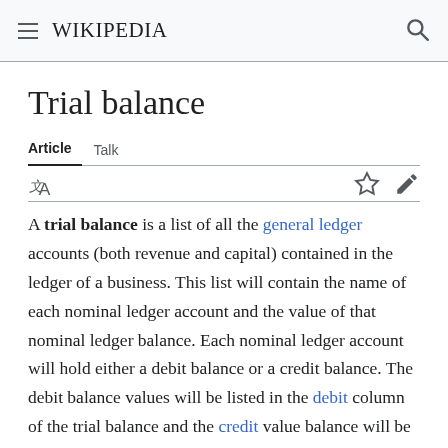Wikipedia
Trial balance
Article   Talk
A trial balance is a list of all the general ledger accounts (both revenue and capital) contained in the ledger of a business. This list will contain the name of each nominal ledger account and the value of that nominal ledger balance. Each nominal ledger account will hold either a debit balance or a credit balance. The debit balance values will be listed in the debit column of the trial balance and the credit value balance will be listed in the credit column. The trading profit and loss statement and balance